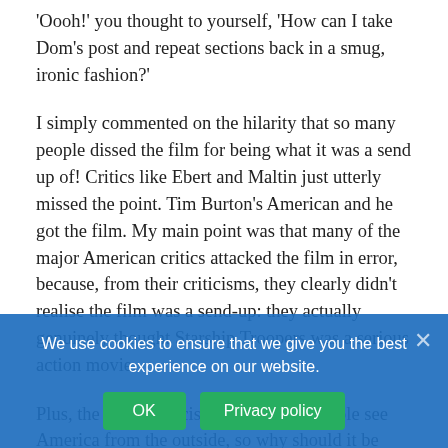'Oooh!' you thought to yourself, 'How can I take Dom's post and repeat sections back in a smug, ironic fashion?'
I simply commented on the hilarity that so many people dissed the film for being what it was a send up of! Critics like Ebert and Maltin just utterly missed the point. Tim Burton's American and he got the film. My main point was that many of the major American critics attacked the film in error, because, from their criticisms, they clearly didn't realise the film was a send-up: they actually genuinely thought Starship Troopers was a serious action movie.
Plus, the film is precisely about how people see America from the outside, so why should it be based on how people see it from the inside? Kind of defeats the object, doesn't it? Does that mean only people who can make films about America can comment on themselves?
So try to be less sad, naive, uncultured and narrow-
We use cookies to ensure that we give you the best experience on our website.